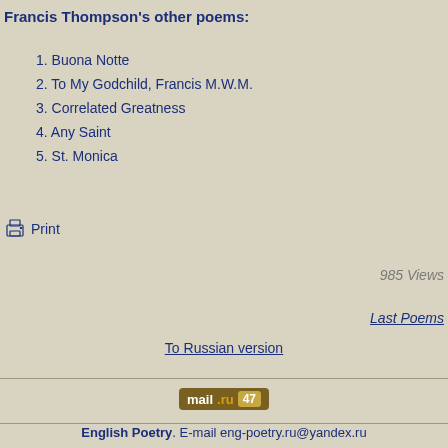Francis Thompson's other poems:
1. Buona Notte
2. To My Godchild, Francis M.W.M.
3. Correlated Greatness
4. Any Saint
5. St. Monica
Print
985 Views
Last Poems
To Russian version
[Figure (logo): mail.ru badge with count 47]
English Poetry. E-mail eng-poetry.ru@yandex.ru